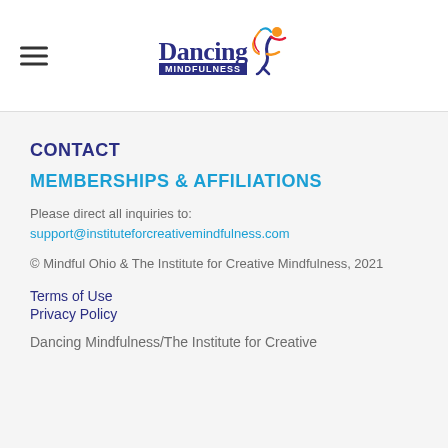Dancing Mindfulness [logo]
CONTACT
MEMBERSHIPS & AFFILIATIONS
Please direct all inquiries to:
support@instituteforcreativemindfulness.com
© Mindful Ohio & The Institute for Creative Mindfulness, 2021
Terms of Use
Privacy Policy
Dancing Mindfulness/The Institute for Creative